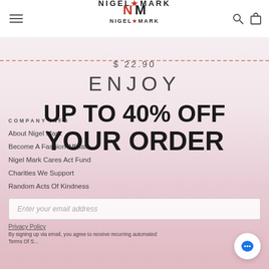[Figure (screenshot): Nigel Mark fashion website screenshot with navigation bar, logo, and promotional overlay showing discount offer on top of a model photo background]
NIGEL★MARK
$ 22.90
ENJOY
UP TO 40% OFF YOUR ORDER
COMPANY INFO
About Nigel Mark
Become A Fashion Affiliate
Nigel Mark Cares Act Fund
Charities We Support
Random Acts Of Kindness
Privacy Policy
By signing up via email, you agree to receive recurring automated Terms Of S...